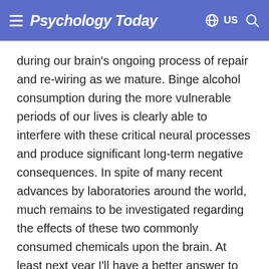Psychology Today
during our brain's ongoing process of repair and re-wiring as we mature. Binge alcohol consumption during the more vulnerable periods of our lives is clearly able to interfere with these critical neural processes and produce significant long-term negative consequences. In spite of many recent advances by laboratories around the world, much remains to be investigated regarding the effects of these two commonly consumed chemicals upon the brain. At least next year I'll have a better answer to my students' recurring question.
© Gary L Wenk, Ph.D., author of Your Brain on